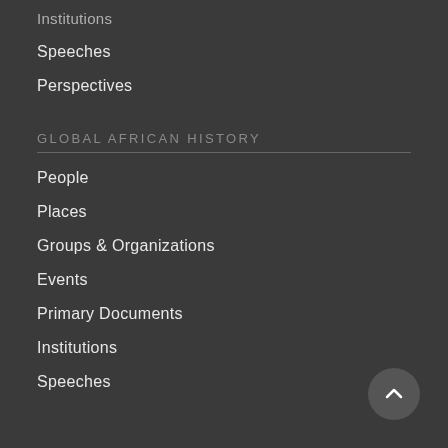Institutions
Speeches
Perspectives
GLOBAL AFRICAN HISTORY
People
Places
Groups & Organizations
Events
Primary Documents
Institutions
Speeches